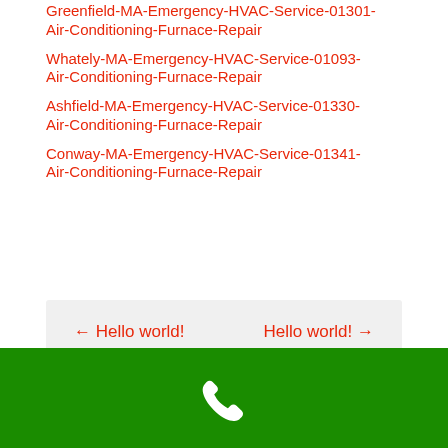Greenfield-MA-Emergency-HVAC-Service-01301-Air-Conditioning-Furnace-Repair
Whately-MA-Emergency-HVAC-Service-01093-Air-Conditioning-Furnace-Repair
Ashfield-MA-Emergency-HVAC-Service-01330-Air-Conditioning-Furnace-Repair
Conway-MA-Emergency-HVAC-Service-01341-Air-Conditioning-Furnace-Repair
← Hello world!    Hello world! →
[Figure (other): Green bar with white phone icon at the bottom of the page]